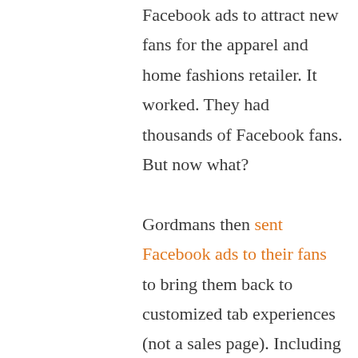Facebook ads to attract new fans for the apparel and home fashions retailer. It worked. They had thousands of Facebook fans. But now what?

Gordmans then sent Facebook ads to their fans to bring them back to customized tab experiences (not a sales page). Including the one previewed above where fans click to vote on which outfit is better. They